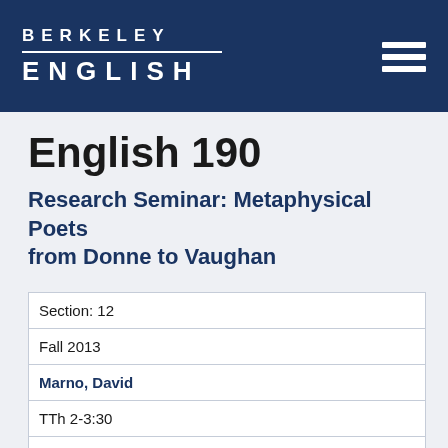BERKELEY ENGLISH
English 190
Research Seminar: Metaphysical Poets from Donne to Vaughan
| Section: 12 |
| Fall 2013 |
| Marno, David |
| TTh 2-3:30 |
| 206 Wheeler |
|  |